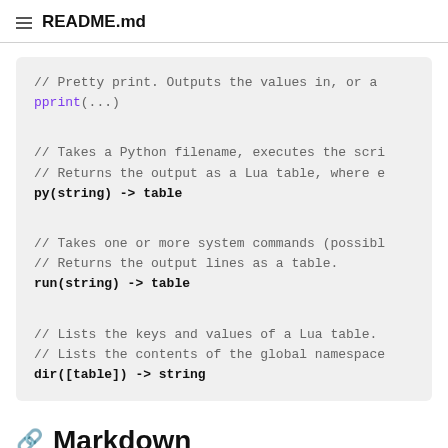README.md
// Pretty print. Outputs the values in, or a
pprint(...)

// Takes a Python filename, executes the scri
// Returns the output as a Lua table, where e
py(string) -> table

// Takes one or more system commands (possibl
// Returns the output lines as a table.
run(string) -> table

// Lists the keys and values of a Lua table.
// Lists the contents of the global namespace
dir([table]) -> string
Markdown